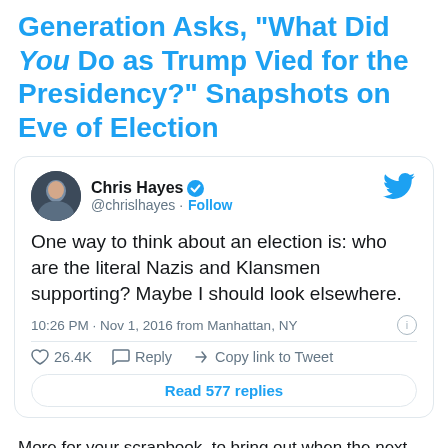Generation Asks, "What Did You Do as Trump Vied for the Presidency?" Snapshots on Eve of Election
[Figure (screenshot): Embedded tweet from Chris Hayes (@chrislhayes) with verified badge and follow button. Tweet text: 'One way to think about an election is: who are the literal Nazis and Klansmen supporting? Maybe I should look elsewhere.' Posted 10:26 PM · Nov 1, 2016 from Manhattan, NY. 26.4K likes. Reply and Copy link to Tweet actions. Read 577 replies button.]
More for your scrapbook, to bring out when the next